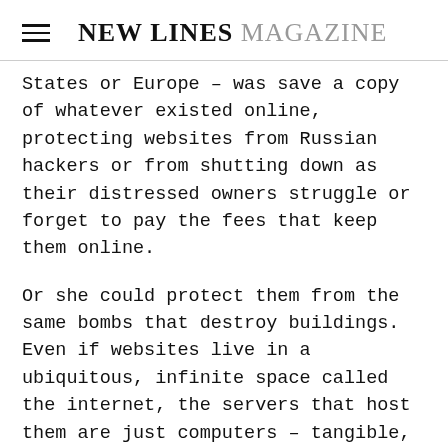NEW LINES MAGAZINE
States or Europe – was save a copy of whatever existed online, protecting websites from Russian hackers or from shutting down as their distressed owners struggle or forget to pay the fees that keep them online.

Or she could protect them from the same bombs that destroy buildings. Even if websites live in a ubiquitous, infinite space called the internet, the servers that host them are just computers – tangible, fragile objects. These computers often reside inside or close to the buildings of the institutions whose websites they hold. If the buildings of these institutions collapse, their websites might